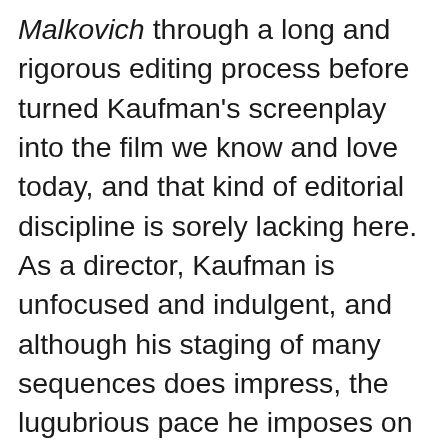Malkovich through a long and rigorous editing process before turned Kaufman's screenplay into the film we know and love today, and that kind of editorial discipline is sorely lacking here. As a director, Kaufman is unfocused and indulgent, and although his staging of many sequences does impress, the lugubrious pace he imposes on the film sucks any real sense of life out of it. Hoffman's performance doesn't help matters either. He plays Cotard in a single, unwavering register of self-regarding despair, and the more we get to know him over the course of the film, the harder it gets to care about him. This lack of a central character leaves the film with an emotional void at its heart that Kaufman can't fill, not even with the superb collection of actresses